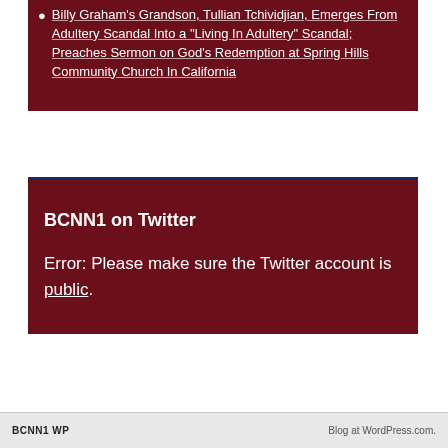Billy Graham's Grandson, Tullian Tchividjian, Emerges From Adultery Scandal Into a 'Living In Adultery' Scandal; Preaches Sermon on God's Redemption at Spring Hills Community Church In California
BCNN1 on Twitter
Error: Please make sure the Twitter account is public.
BCNN1 WP | Blog at WordPress.com.